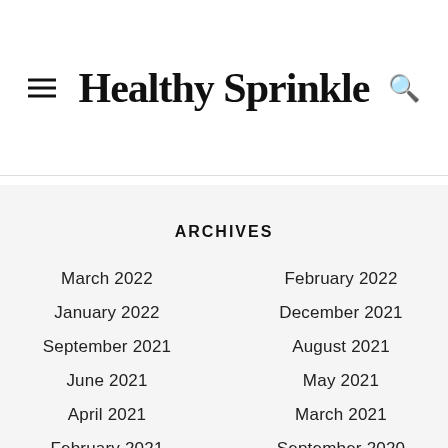Healthy Sprinkle
ARCHIVES
March 2022
February 2022
January 2022
December 2021
September 2021
August 2021
June 2021
May 2021
April 2021
March 2021
February 2021
September 2020